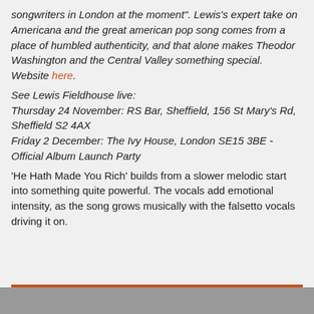songwriters in London at the moment". Lewis's expert take on Americana and the great american pop song comes from a place of humbled authenticity, and that alone makes Theodor Washington and the Central Valley something special. Website here.
See Lewis Fieldhouse live:
Thursday 24 November: RS Bar, Sheffield, 156 St Mary's Rd, Sheffield S2 4AX
Friday 2 December: The Ivy House, London SE15 3BE - Official Album Launch Party
'He Hath Made You Rich' builds from a slower melodic start into something quite powerful. The vocals add emotional intensity, as the song grows musically with the falsetto vocals driving it on.
[Figure (other): Orange horizontal bar above a grey rectangle at the bottom of the page]